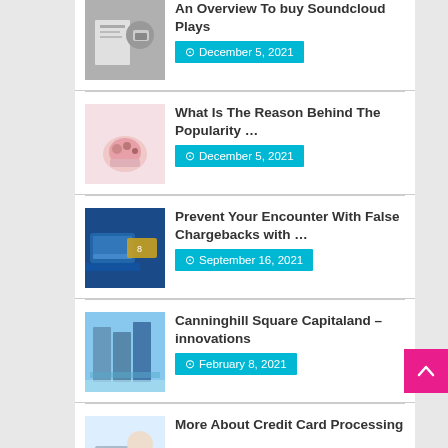An Overview To buy Soundcloud Plays — December 5, 2021
What Is The Reason Behind The Popularity … — December 5, 2021
Prevent Your Encounter With False Chargebacks with … — September 16, 2021
Canninghill Square Capitaland – innovations — February 8, 2021
More About Credit Card Processing